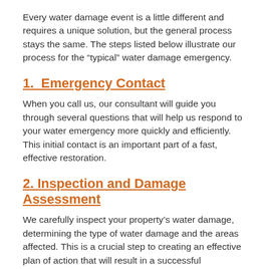Every water damage event is a little different and requires a unique solution, but the general process stays the same. The steps listed below illustrate our process for the “typical” water damage emergency.
1.  Emergency Contact
When you call us, our consultant will guide you through several questions that will help us respond to your water emergency more quickly and efficiently. This initial contact is an important part of a fast, effective restoration.
2. Inspection and Damage Assessment
We carefully inspect your property’s water damage, determining the type of water damage and the areas affected. This is a crucial step to creating an effective plan of action that will result in a successful restoration.
3. Water Removal / Water Extraction
Typically, hundreds or thousands of gallons of water are removed using our powerful pumps and vacuums during the water removal process. We start this process as soon as